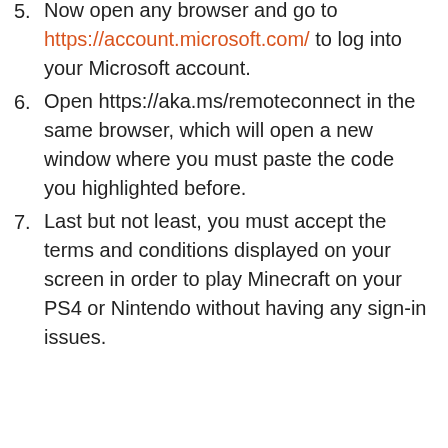5. Now open any browser and go to https://account.microsoft.com/ to log into your Microsoft account.
6. Open https://aka.ms/remoteconnect in the same browser, which will open a new window where you must paste the code you highlighted before.
7. Last but not least, you must accept the terms and conditions displayed on your screen in order to play Minecraft on your PS4 or Nintendo without having any sign-in issues.